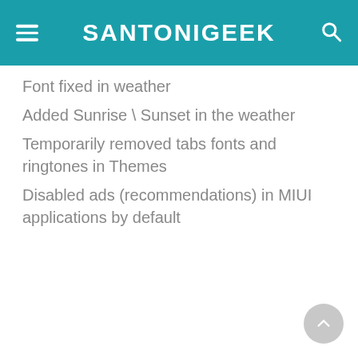SANTONIGEEK
Font fixed in weather
Added Sunrise \ Sunset in the weather
Temporarily removed tabs fonts and ringtones in Themes
Disabled ads (recommendations) in MIUI applications by default